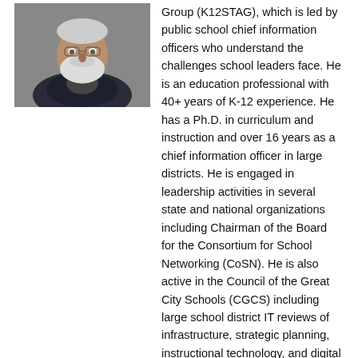[Figure (photo): Headshot photo of a man with a white beard wearing a dark suit jacket and collared shirt, against a neutral gray background.]
Group (K12STAG), which is led by public school chief information officers who understand the challenges school leaders face. He is an education professional with 40+ years of K-12 experience. He has a Ph.D. in curriculum and instruction and over 16 years as a chief information officer in large districts. He is engaged in leadership activities in several state and national organizations including Chairman of the Board for the Consortium for School Networking (CoSN). He is also active in the Council of the Great City Schools (CGCS) including large school district IT reviews of infrastructure, strategic planning, instructional technology, and digital transformation efforts. He also helps coordinate the CGCS annual CIO conferences. Dr. Ryan is a senior fellow for the Center of Digital Education and presents at several international, national, and state conferences throughout the year.